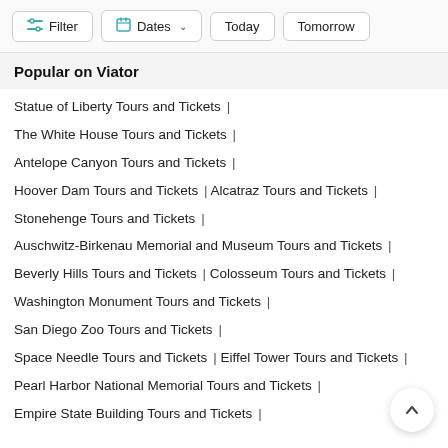[Figure (screenshot): Top filter bar with Filter button (icon), Dates dropdown button, Today button, and Tomorrow button]
Popular on Viator
Statue of Liberty Tours and Tickets |
The White House Tours and Tickets |
Antelope Canyon Tours and Tickets |
Hoover Dam Tours and Tickets | Alcatraz Tours and Tickets |
Stonehenge Tours and Tickets |
Auschwitz-Birkenau Memorial and Museum Tours and Tickets |
Beverly Hills Tours and Tickets | Colosseum Tours and Tickets |
Washington Monument Tours and Tickets |
San Diego Zoo Tours and Tickets |
Space Needle Tours and Tickets | Eiffel Tower Tours and Tickets |
Pearl Harbor National Memorial Tours and Tickets |
Empire State Building Tours and Tickets |